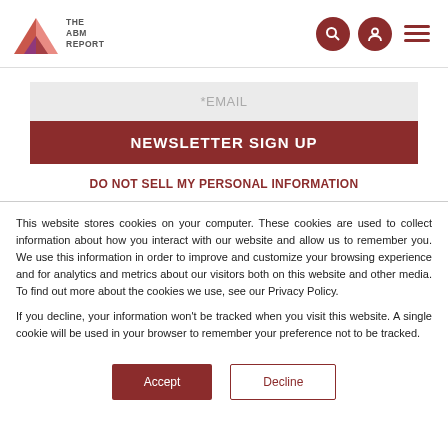THE ABM REPORT
*EMAIL
NEWSLETTER SIGN UP
DO NOT SELL MY PERSONAL INFORMATION
This website stores cookies on your computer. These cookies are used to collect information about how you interact with our website and allow us to remember you. We use this information in order to improve and customize your browsing experience and for analytics and metrics about our visitors both on this website and other media. To find out more about the cookies we use, see our Privacy Policy.
If you decline, your information won't be tracked when you visit this website. A single cookie will be used in your browser to remember your preference not to be tracked.
Accept
Decline